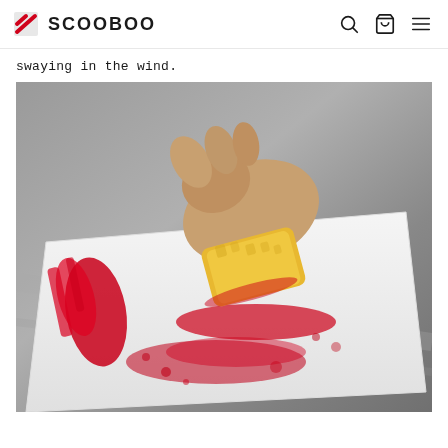SCOOBOO
swaying in the wind.
[Figure (photo): Close-up photo of a hand holding a yellow sponge spreading red pigment or paint on a white surface, shot on a marble/grey textured background.]